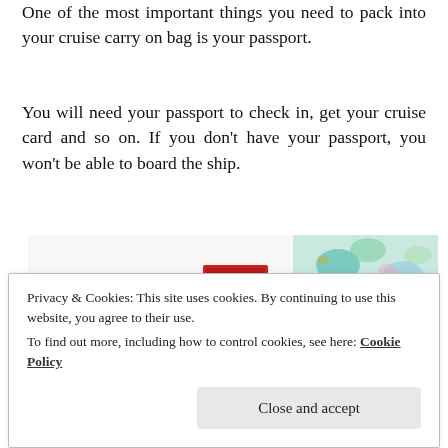One of the most important things you need to pack into your cruise carry on bag is your passport.
You will need your passport to check in, get your cruise card and so on. If you don't have your passport, you won't be able to board the ship.
[Figure (photo): Flat lay photo of travel items including a perfume bottle, a red box, a pink travel perfume atomizer, a dark passport/wallet, and a floral patterned bag/pouch on a white background.]
Privacy & Cookies: This site uses cookies. By continuing to use this website, you agree to their use.
To find out more, including how to control cookies, see here: Cookie Policy
Close and accept